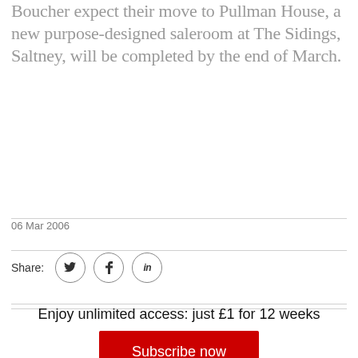Boucher expect their move to Pullman House, a new purpose-designed saleroom at The Sidings, Saltney, will be completed by the end of March.
06 Mar 2006
Share:
Enjoy unlimited access: just £1 for 12 weeks
Subscribe now
"Beautiful as it is, Booth Mansion, the imposing former home of George Booth situated on Watergate Street,